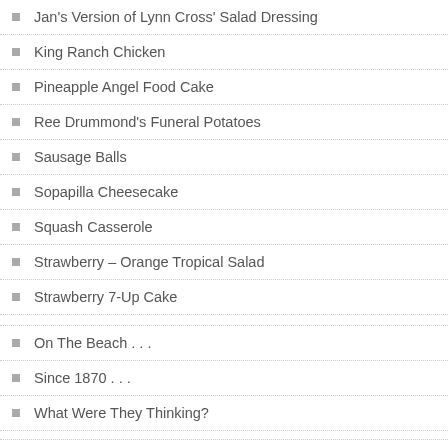Jan's Version of Lynn Cross' Salad Dressing
King Ranch Chicken
Pineapple Angel Food Cake
Ree Drummond's Funeral Potatoes
Sausage Balls
Sopapilla Cheesecake
Squash Casserole
Strawberry – Orange Tropical Salad
Strawberry 7-Up Cake
On The Beach . . .
Since 1870 . . .
What Were They Thinking?
META